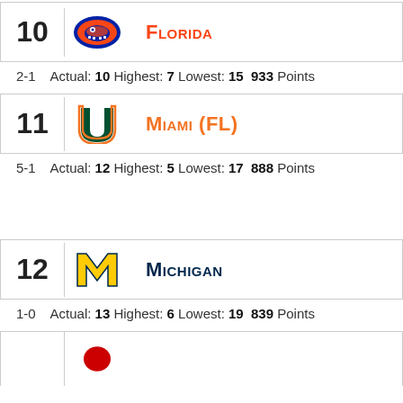10 Florida — 2-1 Actual: 10 Highest: 7 Lowest: 15 933 Points
11 Miami (FL) — 5-1 Actual: 12 Highest: 5 Lowest: 17 888 Points
12 Michigan — 1-0 Actual: 13 Highest: 6 Lowest: 19 839 Points